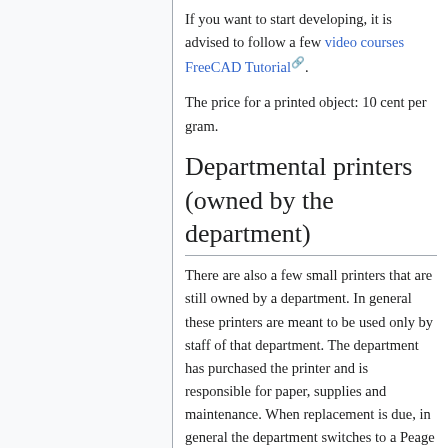If you want to start developing, it is advised to follow a few video courses FreeCAD Tutorial.
The price for a printed object: 10 cent per gram.
Departmental printers (owned by the department)
There are also a few small printers that are still owned by a department. In general these printers are meant to be used only by staff of that department. The department has purchased the printer and is responsible for paper, supplies and maintenance. When replacement is due, in general the department switches to a Peage printer.
Departmental printers (owned